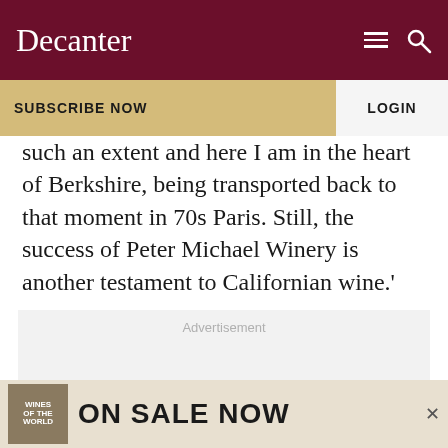Decanter
SUBSCRIBE NOW
LOGIN
such an extent and here I am in the heart of Berkshire, being transported back to that moment in 70s Paris. Still, the success of Peter Michael Winery is another testament to Californian wine.'
Advertisement
[Figure (other): Bottom advertisement banner: Wines of the World magazine cover with text ON SALE NOW and a close button]